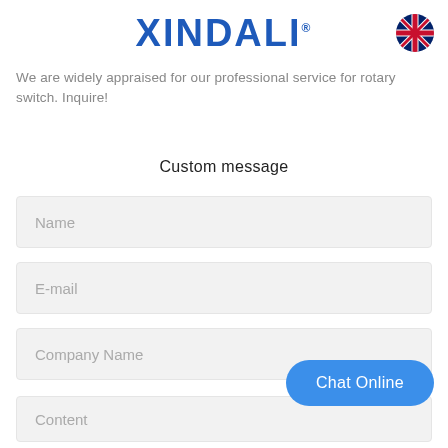XINDALI®
[Figure (illustration): UK flag/globe icon in top right corner]
We are widely appraised for our professional service for rotary switch. Inquire!
Custom message
Name
E-mail
Company Name
Content
Chat Online